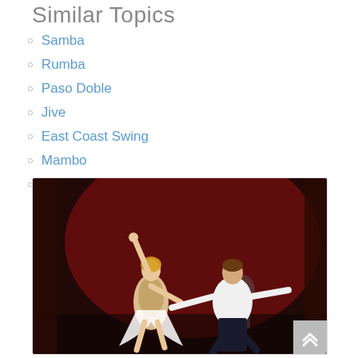Similar Topics
Samba
Rumba
Paso Doble
Jive
East Coast Swing
Mambo
Bolero
[Figure (photo): Two ballroom dancers performing on stage. A woman in a sparkling costume with arm raised and a man in white shirt, both in dramatic dance poses against a red background.]